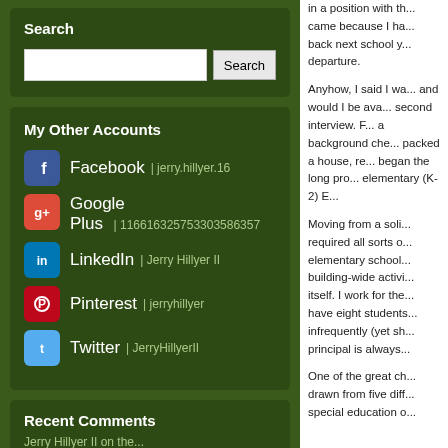Search
Search input and button
My Other Accounts
Facebook | jerry.hillyer.16
Google Plus | 116616325753303586357
LinkedIn | Jerry Hillyer II
Pinterest | jerryhillyer
Twitter | JerryHillyerII
Recent Comments
in a position with th... came because I ha... back next school y... departure.

Anyhow, I said I wa... and would I be ava... second interview. F... a background che... packed a house, re... began the long pro... elementary (K-2) E...

Moving from a soli... required all sorts o... elementary school... building-wide activi... itself. I work for the... have eight students... infrequently (yet sh... principal is always...

One of the great ch... drawn from five diff... special education o...